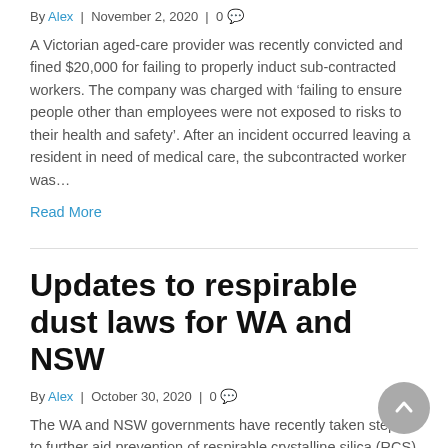By Alex | November 2, 2020 | 0
A Victorian aged-care provider was recently convicted and fined $20,000 for failing to properly induct sub-contracted workers. The company was charged with ‘failing to ensure people other than employees were not exposed to risks to their health and safety’. After an incident occurred leaving a resident in need of medical care, the subcontracted worker was…
Read More
Updates to respirable dust laws for WA and NSW
By Alex | October 30, 2020 | 0
The WA and NSW governments have recently taken steps to further aid prevention of respirable crystalline silica (RCS)